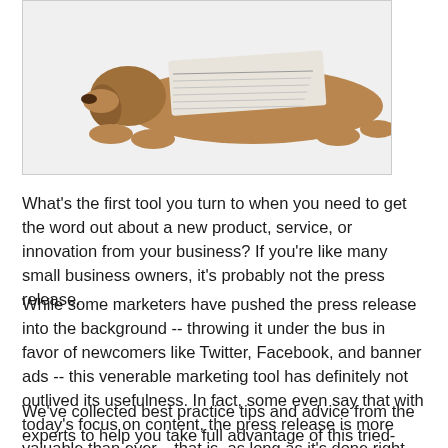[Figure (photo): A dog lying down with a folded newspaper placed on its back, white background, partially visible at top of page.]
What's the first tool you turn to when you need to get the word out about a new product, service, or innovation from your business? If you're like many small business owners, it's probably not the press release.
While some marketers have pushed the press release into the background -- throwing it under the bus in favor of newcomers like Twitter, Facebook, and banner ads -- this venerable marketing tool has definitely not outlived its usefulness. In fact, some even say that with today's focus on content, the press release is more valuable than ever... that is, as long as it's done right.
We've collected best practice tips and advice from the experts to help you take full advantage of this tried-and-true marketing strategy, so you can write a brilliant, amazing and -- most of all -- effective press release that'll get noticed